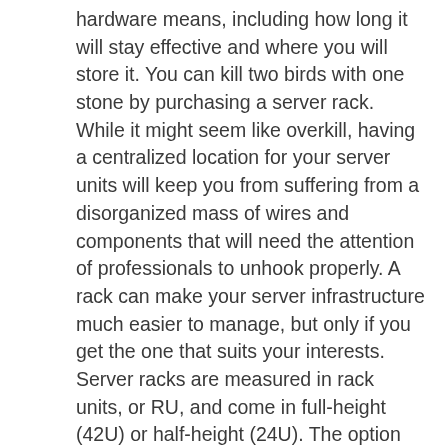hardware means, including how long it will stay effective and where you will store it. You can kill two birds with one stone by purchasing a server rack. While it might seem like overkill, having a centralized location for your server units will keep you from suffering from a disorganized mass of wires and components that will need the attention of professionals to unhook properly. A rack can make your server infrastructure much easier to manage, but only if you get the one that suits your interests. Server racks are measured in rack units, or RU, and come in full-height (42U) or half-height (24U). The option for wall-mounted cabinets exists as well.
Whatever you choose, hosting your own hardware will mean that you need a place to store it. Servers are rather hot and loud, so they can range from being a distraction to being dangerous for your business continuity, when not properly managed. Isolating your